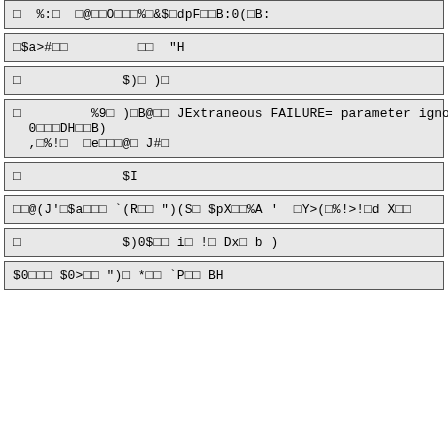   %:    @  O   % &$ dpF  B:0( B:
 $a>#              "H
               $)  ) 
           %9  ) B@   JExtraneous FAILURE= parameter ignored
0   DH  B)
, %!    e   @  J# 
               $I
  @(J' $a    `(R   ")(S  $pX  %A '   Y>( %!>! d X  
               $)0$   i  !  Dx  b )
$0    $0>   ")  *   `P   BH